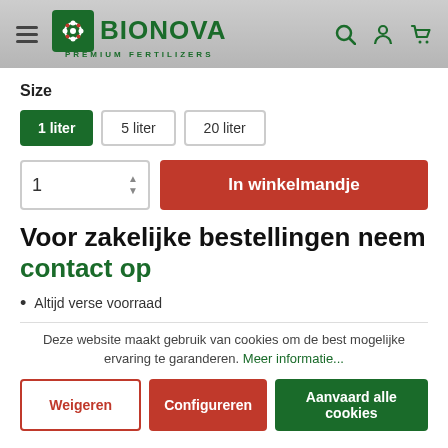[Figure (logo): Bionova Premium Fertilizers logo with green snowflake icon and green bold text]
Size
1 liter | 5 liter | 20 liter (size selector buttons)
Quantity: 1 | In winkelmandje (add to cart button)
Voor zakelijke bestellingen neem contact op
Altijd verse voorraad
Deze website maakt gebruik van cookies om de best mogelijke ervaring te garanderen. Meer informatie...
Weigeren | Configureren | Aanvaard alle cookies (cookie buttons)